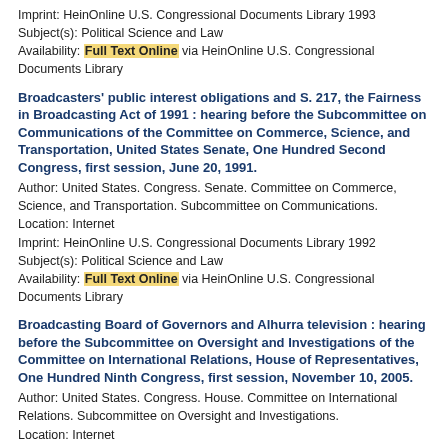Imprint: HeinOnline U.S. Congressional Documents Library 1993
Subject(s): Political Science and Law
Availability: Full Text Online via HeinOnline U.S. Congressional Documents Library
Broadcasters' public interest obligations and S. 217, the Fairness in Broadcasting Act of 1991 : hearing before the Subcommittee on Communications of the Committee on Commerce, Science, and Transportation, United States Senate, One Hundred Second Congress, first session, June 20, 1991.
Author: United States. Congress. Senate. Committee on Commerce, Science, and Transportation. Subcommittee on Communications.
Location: Internet
Imprint: HeinOnline U.S. Congressional Documents Library 1992
Subject(s): Political Science and Law
Availability: Full Text Online via HeinOnline U.S. Congressional Documents Library
Broadcasting Board of Governors and Alhurra television : hearing before the Subcommittee on Oversight and Investigations of the Committee on International Relations, House of Representatives, One Hundred Ninth Congress, first session, November 10, 2005.
Author: United States. Congress. House. Committee on International Relations. Subcommittee on Oversight and Investigations.
Location: Internet
Imprint: HeinOnline U.S. Congressional Documents Library 2006
Subject(s): Political Science and Law
Availability: Full Text Online via HeinOnline U.S. Congressional Documents Library